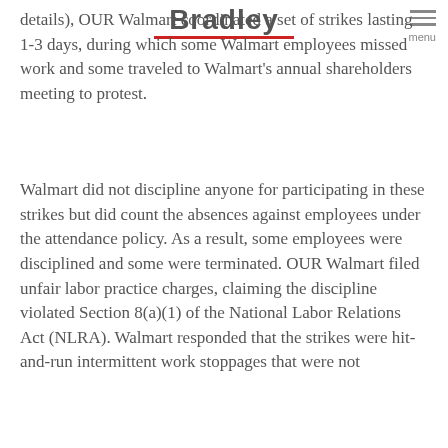Bradley [logo with red underline] menu
details), OUR Walmart coordinated a set of strikes lasting 1-3 days, during which some Walmart employees missed work and some traveled to Walmart's annual shareholders meeting to protest.
Walmart did not discipline anyone for participating in these strikes but did count the absences against employees under the attendance policy. As a result, some employees were disciplined and some were terminated. OUR Walmart filed unfair labor practice charges, claiming the discipline violated Section 8(a)(1) of the National Labor Relations Act (NLRA). Walmart responded that the strikes were hit-and-run intermittent work stoppages that were not